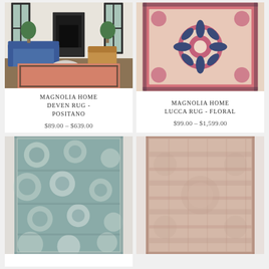[Figure (photo): Living room with blue sofa, round coffee table, leather chair, and a coral/salmon colored ornate rug near fireplace - Magnolia Home Deven Rug Positano]
MAGNOLIA HOME DEVEN RUG - POSITANO
$89.00 – $639.00
[Figure (photo): Close-up of pink and navy blue floral medallion oriental rug - Magnolia Home Lucca Rug Floral]
MAGNOLIA HOME LUCCA RUG - FLORAL
$99.00 – $1,599.00
[Figure (photo): Teal and cream distressed floral vintage-style rug]
[Figure (photo): Blush pink distressed vintage-style rug]